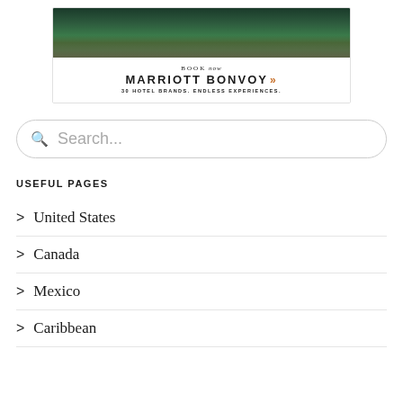[Figure (screenshot): Marriott Bonvoy advertisement banner with aerial photo of a resort with trees and water, text reads BOOK now MARRIOTT BONVOY with chevron logo, 30 HOTEL BRANDS. ENDLESS EXPERIENCES.]
Search...
USEFUL PAGES
> United States
> Canada
> Mexico
> Caribbean